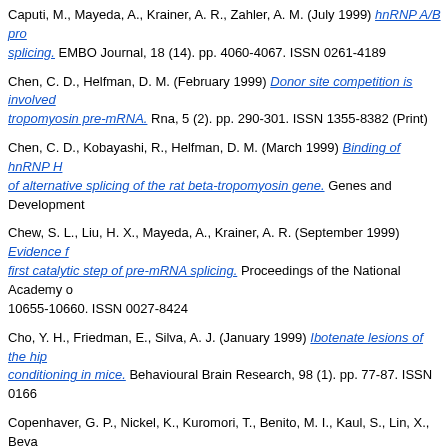Caputi, M., Mayeda, A., Krainer, A. R., Zahler, A. M. (July 1999) hnRNP A/B pro splicing. EMBO Journal, 18 (14). pp. 4060-4067. ISSN 0261-4189
Chen, C. D., Helfman, D. M. (February 1999) Donor site competition is involved tropomyosin pre-mRNA. Rna, 5 (2). pp. 290-301. ISSN 1355-8382 (Print)
Chen, C. D., Kobayashi, R., Helfman, D. M. (March 1999) Binding of hnRNP H of alternative splicing of the rat beta-tropomyosin gene. Genes and Development
Chew, S. L., Liu, H. X., Mayeda, A., Krainer, A. R. (September 1999) Evidence f first catalytic step of pre-mRNA splicing. Proceedings of the National Academy o 10655-10660. ISSN 0027-8424
Cho, Y. H., Friedman, E., Silva, A. J. (January 1999) Ibotenate lesions of the hi conditioning in mice. Behavioural Brain Research, 98 (1). pp. 77-87. ISSN 0166
Copenhaver, G. P., Nickel, K., Kuromori, T., Benito, M. I., Kaul, S., Lin, X., Beva W. R., Martienssen, R. A., Marra, M., Preuss, D. (1999) Genetic definition and s 286 (5449). pp. 2468-2474. ISSN 00368075 (ISSN)
D
DeZazzo, J., Xia, S., Christensen, J., Velinzon, K., Tully, T. (October 1999) Deve the mutant memory defect of amnesiac adults. Journal of Neuroscience, 19 (20
Diamond, A., Churchland, A. K., Cruess, L., Kirkham, N. Z. (November 1999) Ea between stimulus and reward. Developmental Psychology, 35 (6). pp. 1507-151
Ding, J. Z., Hayashi, M. K., Zhang, Y., Manche, L., Krainer, A. R., Xu, R. M. (Ma hnRNP A1 (UP1) complexed with single-stranded telomeric DNA. Genes & Dev